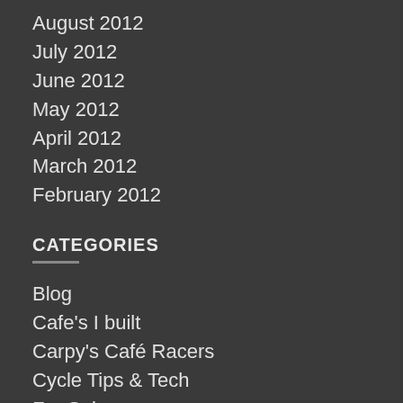August 2012
July 2012
June 2012
May 2012
April 2012
March 2012
February 2012
CATEGORIES
Blog
Cafe's I built
Carpy's Café Racers
Cycle Tips & Tech
For Sale
General Info
Hot Rod Tips & Tech
Just For Laughs